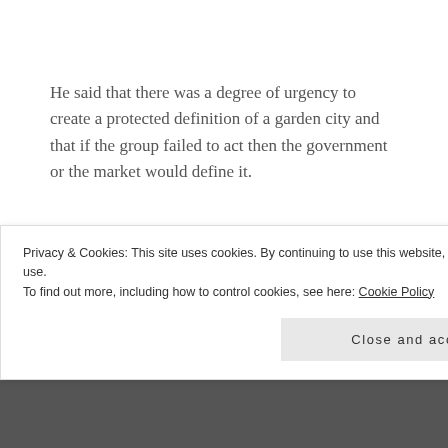He said that there was a degree of urgency to create a protected definition of a garden city and that if the group failed to act then the government or the market would define it.
Debate on the subject suggested that a strong definition would raise standards for a place.
Next up Katy Lock from the TCPA outlined the TCPA garden city principles and explained how they had been
Privacy & Cookies: This site uses cookies. By continuing to use this website, you agree to their use.
To find out more, including how to control cookies, see here: Cookie Policy
Close and accept